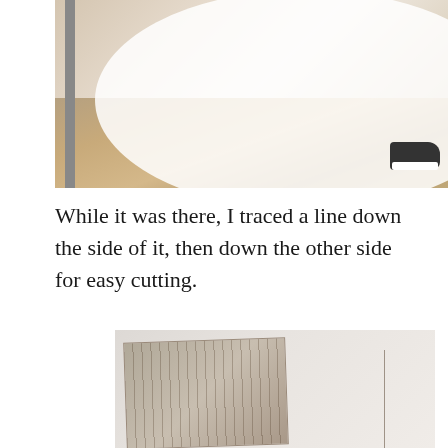[Figure (photo): Photo of a large round white object (possibly a tub or basin) resting on stone/tile floor, with a metal pole visible on the left and a sneaker visible at bottom right]
While it was there, I traced a line down the side of it, then down the other side for easy cutting.
[Figure (photo): Photo of a metal ruler/straightedge lying on a light-colored surface, with a traced pencil line visible alongside it]